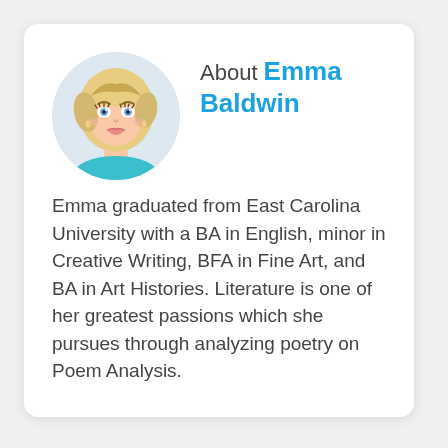[Figure (illustration): Circular avatar illustration of a young blonde woman with blue eyes, wearing a teal top, cartoon/anime style.]
About Emma Baldwin
Emma graduated from East Carolina University with a BA in English, minor in Creative Writing, BFA in Fine Art, and BA in Art Histories. Literature is one of her greatest passions which she pursues through analyzing poetry on Poem Analysis.